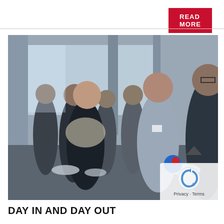READ MORE
[Figure (photo): Group of people standing indoors examining small physical objects or models. Several individuals wearing name badges in what appears to be an event or workshop setting, with large windows in the background.]
[Figure (logo): Google reCAPTCHA logo overlay with Privacy and Terms text in bottom right corner of image]
DAY IN AND DAY OUT